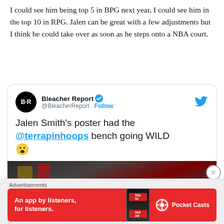I could see him being top 5 in BPG next year, I could see him in the top 10 in RPG. Jalen can be great with a few adjustments but I think he could take over as soon as he steps onto a NBA court.
[Figure (screenshot): Embedded tweet from Bleacher Report (@BleacherReport) with verified badge. Tweet text: 'Jalen Smith's poster had the @terrapinhoops bench going WILD 😮'. Includes a video thumbnail showing a basketball arena crowd with a 'Watch on Twitter' overlay button. Twitter bird logo in top right.]
Advertisements
[Figure (other): Red advertisement banner for Pocket Casts app. Text: 'An app by listeners, for listeners.' with Pocket Casts logo on right and phone image in center.]